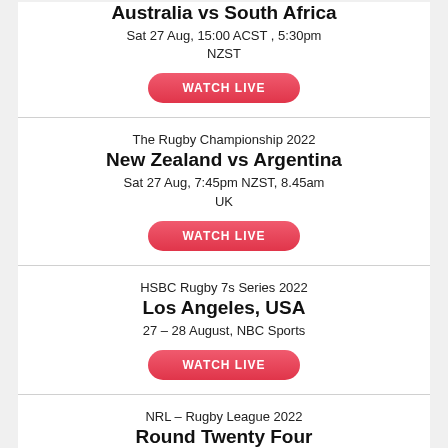Australia vs South Africa
Sat 27 Aug, 15:00 ACST , 5:30pm NZST
WATCH LIVE
The Rugby Championship 2022
New Zealand vs Argentina
Sat 27 Aug, 7:45pm NZST, 8.45am UK
WATCH LIVE
HSBC Rugby 7s Series 2022
Los Angeles, USA
27 – 28 August, NBC Sports
WATCH LIVE
NRL – Rugby League 2022
Round Twenty Four
25 – 28 August, Australia
WATCH LIVE
Bunnings NPC 2022
Week FOUR 4
26 – 31 August, New Zealand